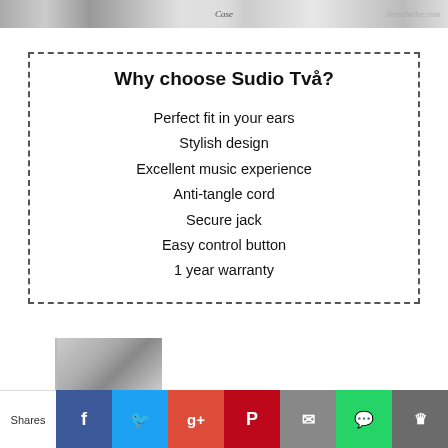[Figure (photo): Top strip showing product image with 'Case' label and 'theisabellee.com' watermark]
Why choose Sudio Två?
Perfect fit in your ears
Stylish design
Excellent music experience
Anti-tangle cord
Secure jack
Easy control button
1 year warranty
[Figure (photo): Partial product image visible at bottom left]
Shares | Facebook | Twitter | Google+ | Pinterest | Email | WhatsApp | SU